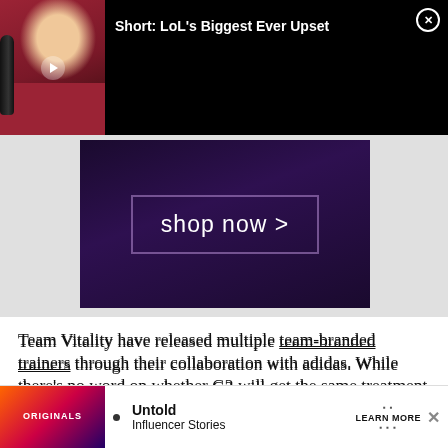[Figure (screenshot): Video thumbnail showing a man in a floral shirt at a microphone, with title 'Short: LoL's Biggest Ever Upset' and a close button]
[Figure (screenshot): Advertisement banner with dark purple background showing 'shop now >' button with rectangular border]
Team Vitality have released multiple team-branded trainers through their collaboration with adidas. While there's no word on whether G2 will get the same treatment just yet, they have thousands of fans who re... ever a
[Figure (screenshot): Bottom advertisement for 'Originals - Untold Influencer Stories' with Learn More CTA and close button]